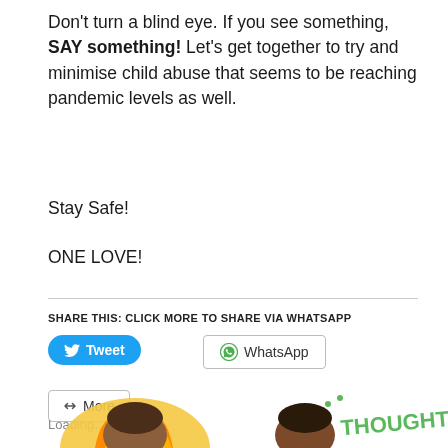Don't turn a blind eye. If you see something, SAY something! Let's get together to try and minimise child abuse that seems to be reaching pandemic levels as well.
Stay Safe!
ONE LOVE!
SHARE THIS: CLICK MORE TO SHARE VIA WHATSAPP
[Figure (screenshot): Social sharing buttons: Tweet (blue), WhatsApp (outlined), Save (red/Pinterest), More (outlined)]
Loading...
[Figure (illustration): Two emoji-style illustrations at bottom: left shows a person with flame/fire hair, right shows a person with dark hair next to green THOUGHTS? text]